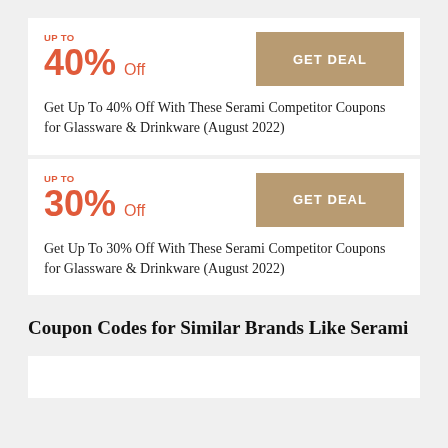UP TO
40% Off
GET DEAL
Get Up To 40% Off With These Serami Competitor Coupons for Glassware & Drinkware (August 2022)
UP TO
30% Off
GET DEAL
Get Up To 30% Off With These Serami Competitor Coupons for Glassware & Drinkware (August 2022)
Coupon Codes for Similar Brands Like Serami